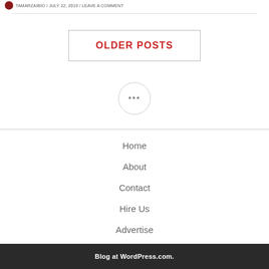TAMARZAIBIO / JULY 22, 2019 / LEAVE A COMMENT
OLDER POSTS
[Figure (other): Circle with three dots (ellipsis) inside]
Home
About
Contact
Hire Us
Advertise
Blog at WordPress.com.